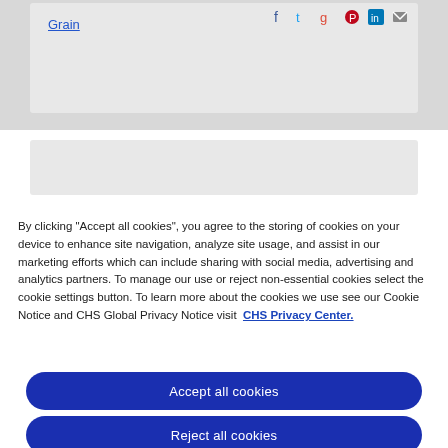Grain
[Figure (infographic): Social media sharing icons: Facebook, Twitter, Google+, Pinterest, LinkedIn, Email]
By clicking “Accept all cookies”, you agree to the storing of cookies on your device to enhance site navigation, analyze site usage, and assist in our marketing efforts which can include sharing with social media, advertising and analytics partners. To manage our use or reject non-essential cookies select the cookie settings button. To learn more about the cookies we use see our Cookie Notice and CHS Global Privacy Notice visit CHS Privacy Center.
Accept all cookies
Reject all cookies